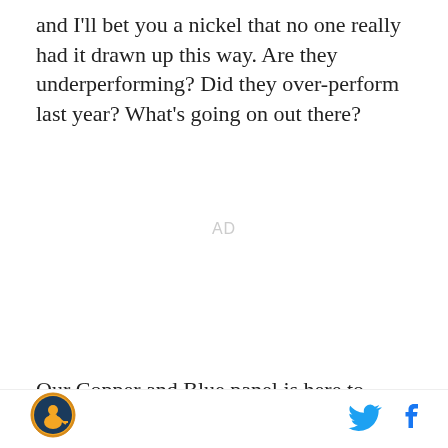and I'll bet you a nickel that no one really had it drawn up this way. Are they underperforming? Did they over-perform last year? What's going on out there?
[Figure (other): AD placeholder text in light gray]
Our Copper and Blue panel is here to discuss exactly
[Figure (logo): Copper and Blue site logo — circular badge with hockey player illustration in orange and blue]
[Figure (other): Twitter bird icon in blue and Facebook f icon in blue]